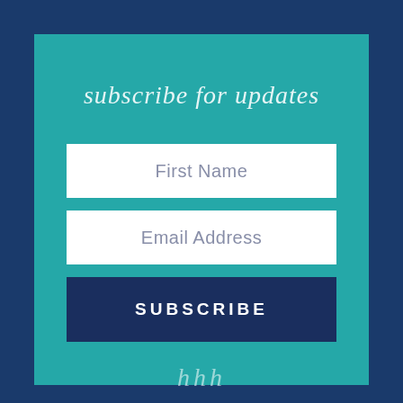subscribe for updates
First Name
Email Address
SUBSCRIBE